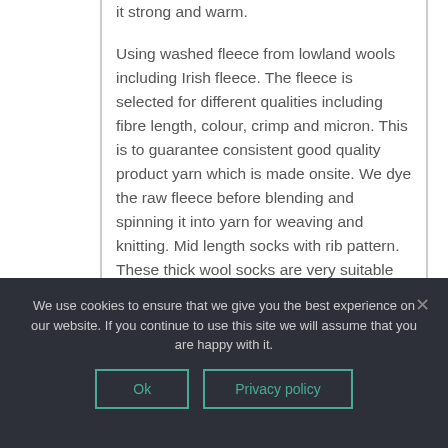it strong and warm.
Using washed fleece from lowland wools including Irish fleece. The fleece is selected for different qualities including fibre length, colour, crimp and micron. This is to guarantee consistent good quality product yarn which is made onsite. We dye the raw fleece before blending and spinning it into yarn for weaving and knitting. Mid length socks with rib pattern. These thick wool socks are very suitable for hiking and walking. Wool helps keep your feet feeling
We use cookies to ensure that we give you the best experience on our website. If you continue to use this site we will assume that you are happy with it.